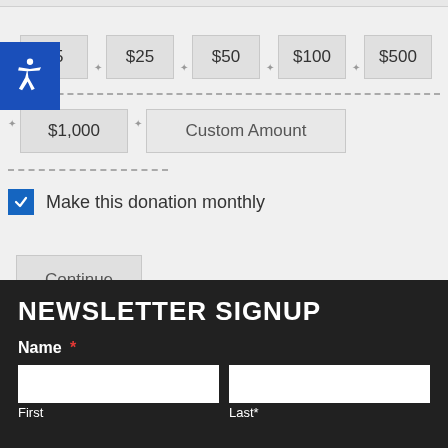$5
$25
$50
$100
$500
$1,000
Custom Amount
Make this donation monthly
Continue
NEWSLETTER SIGNUP
Name *
First
Last